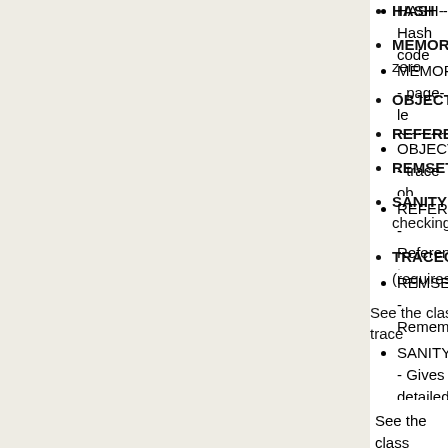HASH - Hash code operations
MEMORY - page-level memory operations (map, unmap, zero)
OBJECT - trace object mutation events
REFERENCES - Reference type processing
REMSET - Remembered set processing
SANITY - Gives detailed information during Harness sanity checking
TRACEOBJECT - Traces every call to traceObject during (requires MMTk support)
See the class org.mmtk.harness.lang.Tra for more details and trace